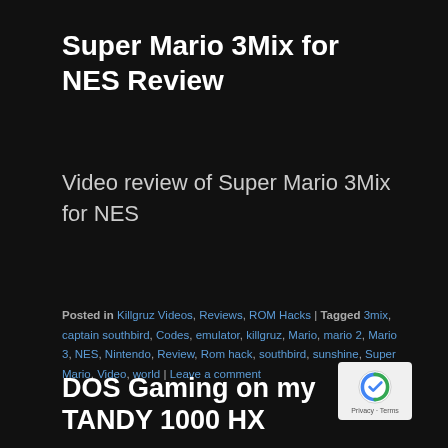Super Mario 3Mix for NES Review
Video review of Super Mario 3Mix for NES
Posted in Killgruz Videos, Reviews, ROM Hacks | Tagged 3mix, captain southbird, Codes, emulator, killgruz, Mario, mario 2, Mario 3, NES, Nintendo, Review, Rom hack, southbird, sunshine, Super Mario, Video, world | Leave a comment
DOS Gaming on my TANDY 1000 HX